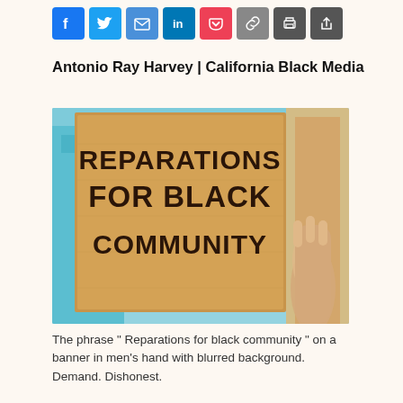[Figure (other): Social media sharing icons: Facebook, Twitter, Email, LinkedIn, Pocket, Link, Print, Share]
Antonio Ray Harvey | California Black Media
[Figure (photo): A person holding a cardboard sign reading 'REPARATIONS FOR BLACK COMMUNITY' with blurred background]
The phrase " Reparations for black community " on a banner in men's hand with blurred background. Demand. Dishonest. Disrespect. Money. Shame. Black people. Social Inequality. Protest